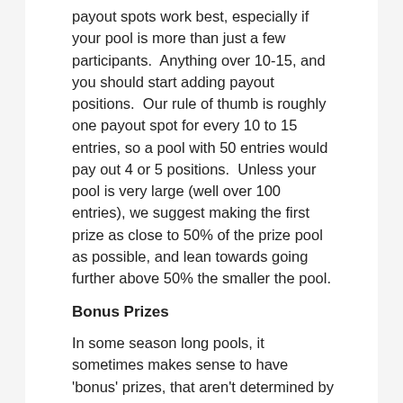payout spots work best, especially if your pool is more than just a few participants.  Anything over 10-15, and you should start adding payout positions.  Our rule of thumb is roughly one payout spot for every 10 to 15 entries, so a pool with 50 entries would pay out 4 or 5 positions.  Unless your pool is very large (well over 100 entries), we suggest making the first prize as close to 50% of the prize pool as possible, and lean towards going further above 50% the smaller the pool.
Bonus Prizes
In some season long pools, it sometimes makes sense to have 'bonus' prizes, that aren't determined by overall score at the end of the season.  The most common is to reward a first half or second half winner.  A second half prize can be a good way to keep people interested, even if they have a slow start in the overall standings.  Another interesting twist is to payout the person finishing last with their money back, with the caveat that they have to have made all of their picks in order to 'win' the prize.  We generally suggest avoiding